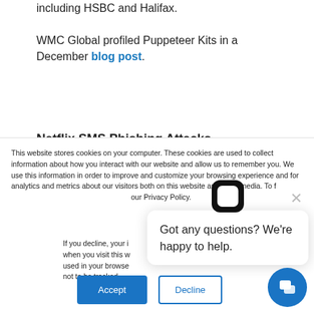including HSBC and Halifax.
WMC Global profiled Puppeteer Kits in a December blog post.
Netflix SMS Phishing Attacks
This website stores cookies on your computer. These cookies are used to collect information about how you interact with our website and allow us to remember you. We use this information in order to improve and customize your browsing experience and for analytics and metrics about our visitors both on this website and other media. To find out more about the cookies we use, see our Privacy Policy.
If you decline, your information won't be tracked when you visit this website. A single cookie will be used in your browser to remember your preference not to be tracked.
Got any questions? We're happy to help.